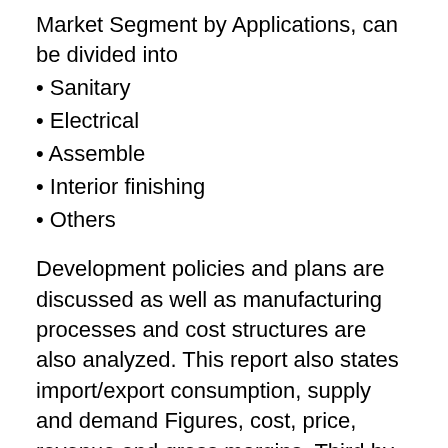Market Segment by Applications, can be divided into
• Sanitary
• Electrical
• Assemble
• Interior finishing
• Others
Development policies and plans are discussed as well as manufacturing processes and cost structures are also analyzed. This report also states import/export consumption, supply and demand Figures, cost, price, revenue and gross margins. Third by regions, this report focuses on the sales (consumption), production, import and export of Hole Saw in North America, Europe and Asia-Pacific, South America, Middle East and Africa.